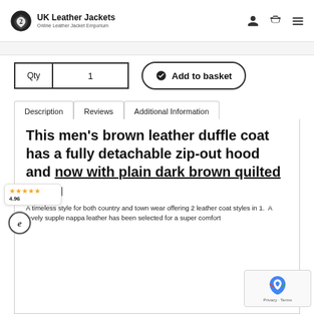UK Leather Jackets — Online Leather Jacket Emporium
Qty  1   ✓ Add to basket
Description | Reviews | Additional Information
This men's brown leather duffle coat has a fully detachable zip-out hood and now with plain dark brown quilted lining
A timeless style for both country and town wear offering 2 leather coat styles in 1.  A lovely supple nappa leather has been selected for a super comfort